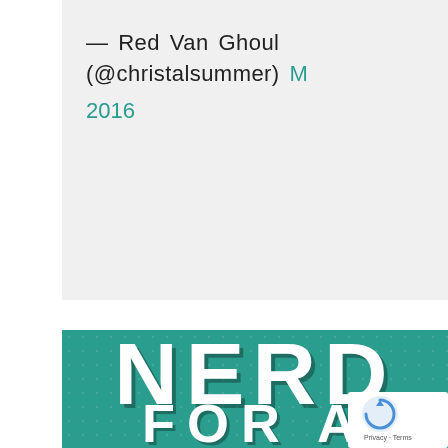— Red Van Ghoul (@christalsummer) M 2016
[Figure (illustration): Teal/green background with dot pattern showing text 'NERD FOR A LIVING' in large white bold block letters with drop shadow]